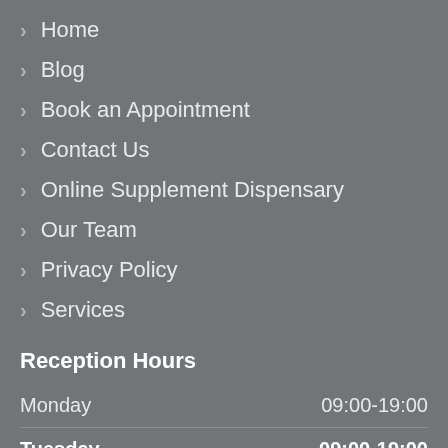Home
Blog
Book an Appointment
Contact Us
Online Supplement Dispensary
Our Team
Privacy Policy
Services
Reception Hours
| Day | Hours |
| --- | --- |
| Monday | 09:00-19:00 |
| Tuesday | 09:00-19:00 |
| Wednesday | 09:00-19:00 |
| Thursday | 09:00-17:00 |